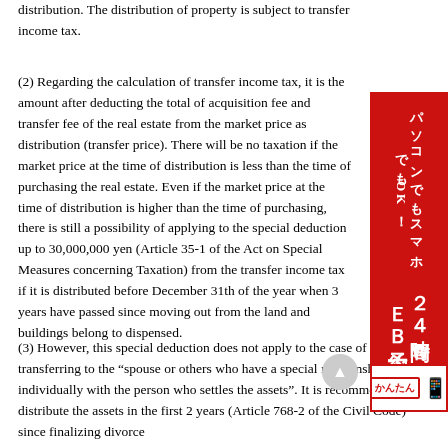distribution. The distribution of property is subject to transfer income tax.
(2) Regarding the calculation of transfer income tax, it is the amount after deducting the total of acquisition fee and transfer fee of the real estate from the market price as distribution (transfer price). There will be no taxation if the market price at the time of distribution is less than the time of purchasing the real estate. Even if the market price at the time of distribution is higher than the time of purchasing, there is still a possibility of applying to the special deduction up to 30,000,000 yen (Article 35-1 of the Act on Special Measures concerning Taxation) from the transfer income tax if it is distributed before December 31th of the year when 3 years have passed since moving out from the land and buildings belong to dispensed.
(3) However, this special deduction does not apply to the case of transferring to the “spouse or others who have a special relationship individually with the person who settles the assets”. It is recommendable to distribute the assets in the first 2 years (Article 768-2 of the Civil Code) since finalizing divorce